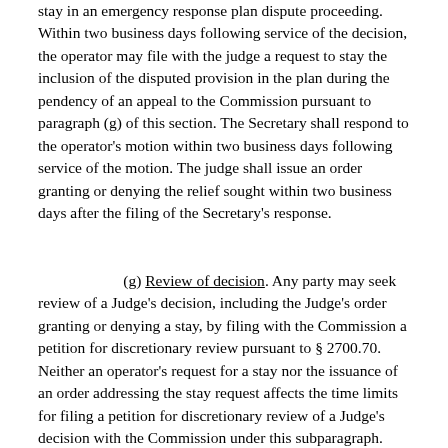stay in an emergency response plan dispute proceeding.  Within two business days following service of the decision, the operator may file with the judge a request to stay the inclusion of the disputed provision in the plan during the pendency of an appeal to the Commission pursuant to paragraph (g) of this section.  The Secretary shall respond to the operator's motion within two business days following service of the motion.  The judge shall issue an order granting or denying the relief sought within two business days after the filing of the Secretary's response.
(g) Review of decision.  Any party may seek review of a Judge's decision, including the Judge's order granting or denying a stay, by filing with the Commission a petition for discretionary review pursuant to § 2700.70.  Neither an operator's request for a stay nor the issuance of an order addressing the stay request affects the time limits for filing a petition for discretionary review of a Judge's decision with the Commission under this subparagraph.  The Commission shall